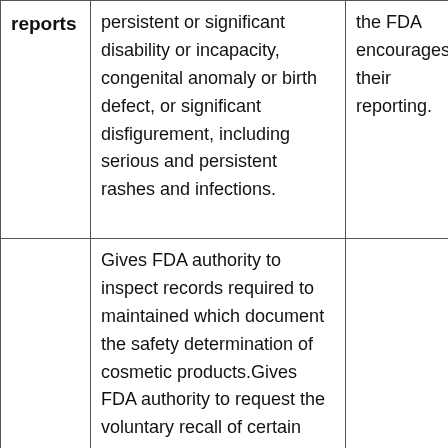| reports | persistent or significant disability or incapacity, congenital anomaly or birth defect, or significant disfigurement, including serious and persistent rashes and infections. | the FDA encourages their reporting. |
|  | Gives FDA authority to inspect records required to maintained which document the safety determination of cosmetic products.Gives FDA authority to request the voluntary recall of certain personal care products |  |